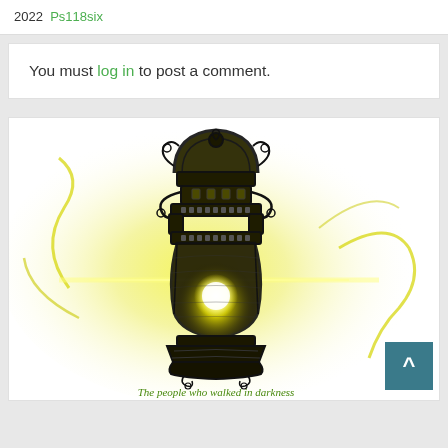2022  Ps118six
You must log in to post a comment.
[Figure (illustration): Illustration of an ornate glowing lantern with yellow light rays emanating from it, with decorative scrollwork. Text below reads: 'The people who walked in darkness Have seen a great light;']
The people who walked in darkness
Have seen a great light;